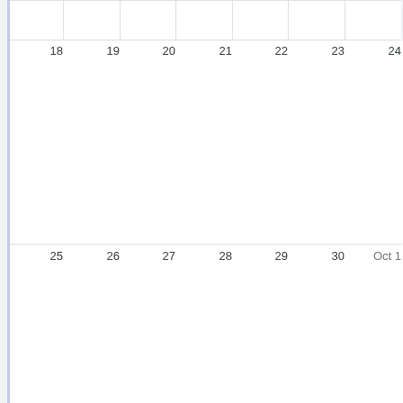[Figure (screenshot): Google Calendar monthly view showing the bottom portion of a month. Two rows of calendar dates are visible: row with dates 18-24 and row with dates 25-30 and Oct 1. Calendar cells are empty with no events. A footer bar shows 'Events shown in time zone: Central Time - Chicago' and a Google Calendar button.]
Events shown in time zone: Central Time - Chicago